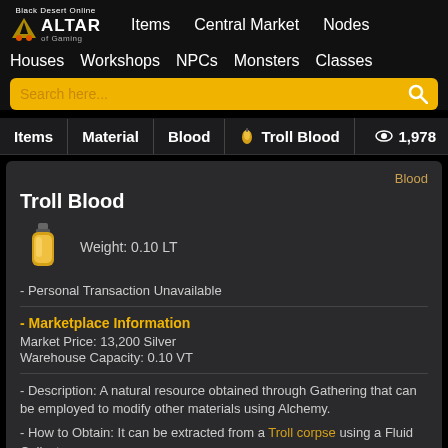Black Desert Online - Altar of Gaming - Items | Central Market | Nodes | Houses | Workshops | NPCs | Monsters | Classes
Items | Material | Blood | Troll Blood | 1,978 views
Troll Blood
Weight: 0.10 LT
- Personal Transaction Unavailable
- Marketplace Information
Market Price: 13,200 Silver
Warehouse Capacity: 0.10 VT
- Description: A natural resource obtained through Gathering that can be employed to modify other materials using Alchemy.
- How to Obtain: It can be extracted from a Troll corpse using a Fluid Collector.